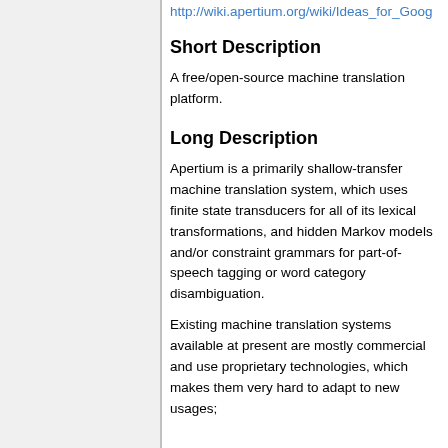http://wiki.apertium.org/wiki/Ideas_for_Goog
Short Description
A free/open-source machine translation platform.
Long Description
Apertium is a primarily shallow-transfer machine translation system, which uses finite state transducers for all of its lexical transformations, and hidden Markov models and/or constraint grammars for part-of-speech tagging or word category disambiguation.
Existing machine translation systems available at present are mostly commercial and use proprietary technologies, which makes them very hard to adapt to new usages;